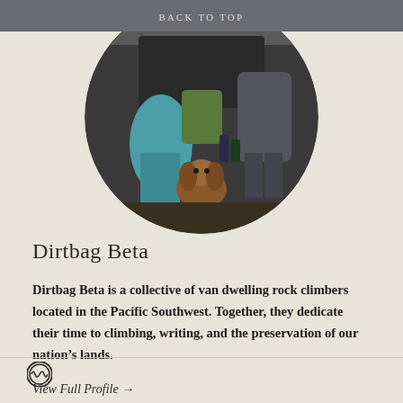BACK TO TOP
[Figure (photo): Circular cropped photo showing people sitting at the back of a vehicle with a dog in the foreground]
Dirtbag Beta
Dirtbag Beta is a collective of van dwelling rock climbers located in the Pacific Southwest. Together, they dedicate their time to climbing, writing, and the preservation of our nation's lands.
View Full Profile →
[Figure (logo): WordPress logo icon]